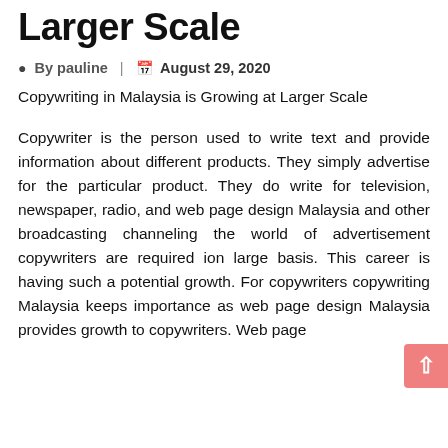Larger Scale
By pauline | August 29, 2020
Copywriting in Malaysia is Growing at Larger Scale
Copywriter is the person used to write text and provide information about different products. They simply advertise for the particular product. They do write for television, newspaper, radio, and web page design Malaysia and other broadcasting channeling the world of advertisement copywriters are required ion large basis. This career is having such a potential growth. For copywriters copywriting Malaysia keeps importance as web page design Malaysia provides growth to copywriters. Web page